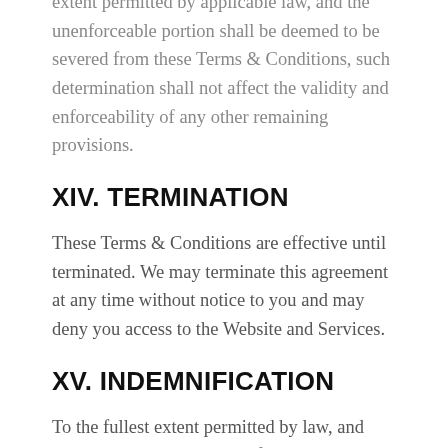extent permitted by applicable law, and the unenforceable portion shall be deemed to be severed from these Terms & Conditions, such determination shall not affect the validity and enforceability of any other remaining provisions.
XIV. TERMINATION
These Terms & Conditions are effective until terminated. We may terminate this agreement at any time without notice to you and may deny you access to the Website and Services.
XV. INDEMNIFICATION
To the fullest extent permitted by law, and except to the extent arising from our